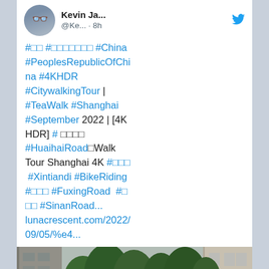Kevin Ja... @Ke... · 8h
#□□ #□□□□□□□ #China #PeoplesRepublicOfChina #4KHDR #CitywalkingTour | #TeaWalk #Shanghai #September 2022 | [4K HDR] # □□□□ #HuaihaiRoad□Walk Tour Shanghai 4K #□□□ #Xintiandi #BikeRiding #□□□ #FuxingRoad #□□□ #SinanRoad... lunacrescent.com/2022/09/05/%e4...
[Figure (photo): Street scene in Shanghai showing a pedestrian walkway with trees, historic buildings on both sides, and a blue billboard visible on the right side.]